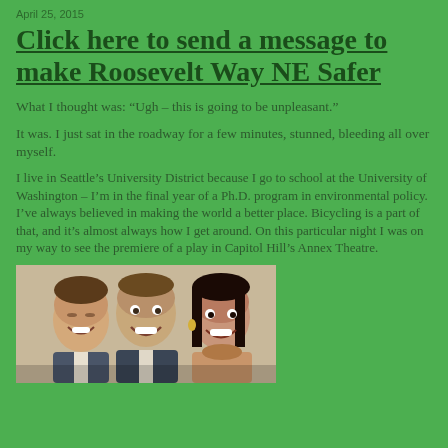April 25, 2015
Click here to send a message to make Roosevelt Way NE Safer
What I thought was: “Ugh – this is going to be unpleasant.”
It was. I just sat in the roadway for a few minutes, stunned, bleeding all over myself.
I live in Seattle’s University District because I go to school at the University of Washington – I’m in the final year of a Ph.D. program in environmental policy. I’ve always believed in making the world a better place. Bicycling is a part of that, and it’s almost always how I get around. On this particular night I was on my way to see the premiere of a play in Capitol Hill’s Annex Theatre.
[Figure (photo): Three people smiling together at an event, two men and a woman]